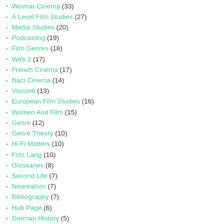Weimar Cinema (33)
A Level Film Studies (27)
Media Studies (20)
Podcasting (19)
Film Genres (18)
Web 2 (17)
French Cinema (17)
Nazi Cinema (14)
Visconti (13)
European Film Studies (16)
Women And Film (15)
Genre (12)
Genre Theory (10)
Hi Fi Matters (10)
Fritz Lang (10)
Glossaries (8)
Second Life (7)
Neorealism (7)
Bibliography (7)
Hub Page (6)
German History (5)
British Broadcasting (6)
French New Wave (5)
Ufa (5)
Music Matters (3)
Art Matters (3)
Expressionist Cinema (4)